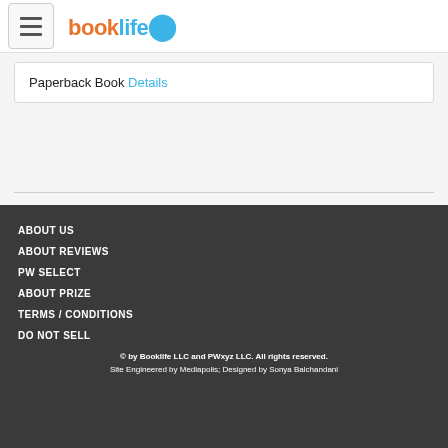booklife [logo] | menu button
Paperback Book Details
ABOUT US
ABOUT REVIEWS
PW SELECT
ABOUT PRIZE
TERMS / CONDITIONS
DO NOT SELL
© by Booklife LLC and PWxyz LLC. All rights reserved. Site Engineered by Mediapolis; Designed by Sonya Balchandani